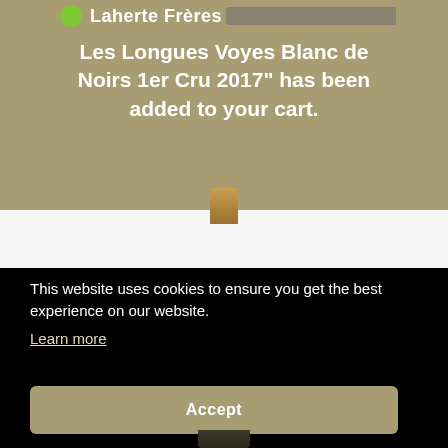Laherte Frères
"Les Longues Voyes Blanc de Noirs 1er Cru 2017" has been added to your cart.
[Figure (photo): Wine bottle partially visible against light background]
This website uses cookies to ensure you get the best experience on our website.
Learn more
Accept